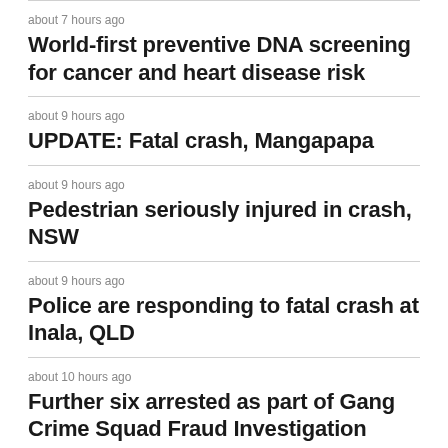about 7 hours ago
World-first preventive DNA screening for cancer and heart disease risk
about 9 hours ago
UPDATE: Fatal crash, Mangapapa
about 9 hours ago
Pedestrian seriously injured in crash, NSW
about 9 hours ago
Police are responding to fatal crash at Inala, QLD
about 10 hours ago
Further six arrested as part of Gang Crime Squad Fraud Investigation